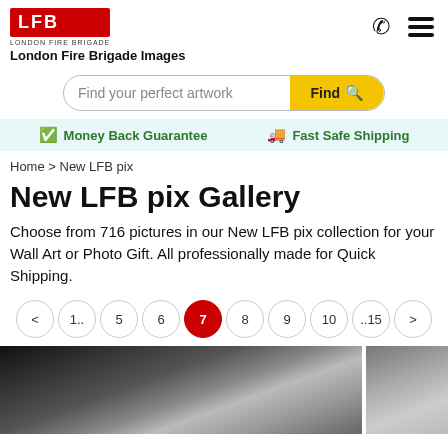[Figure (logo): LFB London Fire Brigade logo in red square with white letters, with phone icon and hamburger menu on the right]
London Fire Brigade Images
[Figure (other): Search bar with text 'Find your perfect artwork' and yellow Find button with magnifying glass icon]
Money Back Guarantee   Fast Safe Shipping
Home > New LFB pix
New LFB pix Gallery
Choose from 716 pictures in our New LFB pix collection for your Wall Art or Photo Gift. All professionally made for Quick Shipping.
[Figure (other): Pagination bar: < 1.. 5 6 7(active/red) 8 9 10 ..15 >]
[Figure (photo): Black and white photograph of a building with fire damage or historic fire brigade scene, partially cut off at bottom of page]